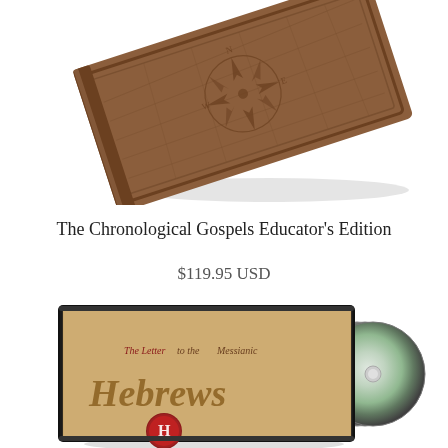[Figure (photo): A leather-bound book with embossed compass rose and map design, photographed at an angle on white background]
The Chronological Gospels Educator's Edition
$119.95 USD
[Figure (photo): A CD/DVD set in a jewel case with parchment-style cover art reading 'The Letter to the Messianic Hebrews' with a red wax seal bearing the letter H, and visible CD discs fanned to the right]